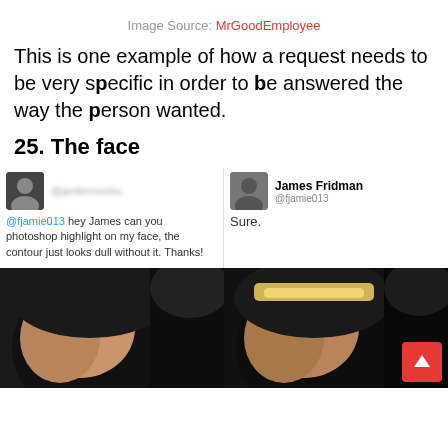Image Source: MrGoodEmployee
This is one example of how a request needs to be very specific in order to be answered the way the person wanted.
25. The face
[Figure (screenshot): Two-column Twitter conversation screenshot. Left: anonymous user (@fjamie013) asks James to photoshop highlight on their face, says contour looks dull without it. Right: James Fridman (@fjamie013) replies 'Sure.' Below each tweet are cropped photos of a person's face/head — the right photo appears to have a bright highlight added to the top of the head.]